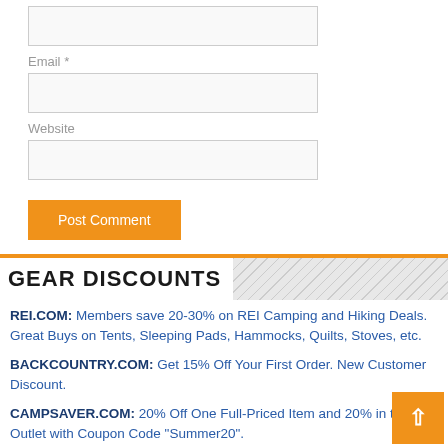(text input box - top)
Email *
(email input box)
Website
(website input box)
Post Comment
GEAR DISCOUNTS
REI.COM: Members save 20-30% on REI Camping and Hiking Deals. Great Buys on Tents, Sleeping Pads, Hammocks, Quilts, Stoves, etc.
BACKCOUNTRY.COM: Get 15% Off Your First Order. New Customer Discount.
CAMPSAVER.COM: 20% Off One Full-Priced Item and 20% in the Outlet with Coupon Code "Summer20".
KAMMOCK.COM: Labor Day Sale! Save 20% Off the award-winning Mantis ALL-in-One Mosquito Hammock, Hammock Suspension, and Tarp. Get Elevated!